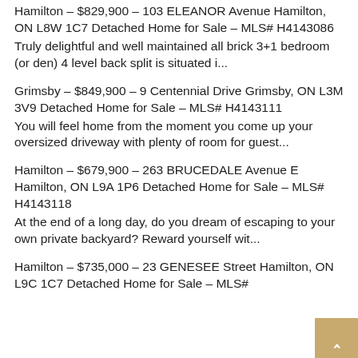Hamilton - $829,900 - 103 ELEANOR Avenue Hamilton, ON L8W 1C7 Detached Home for Sale - MLS# H4143086
Truly delightful and well maintained all brick 3+1 bedroom (or den) 4 level back split is situated i...
Grimsby - $849,900 - 9 Centennial Drive Grimsby, ON L3M 3V9 Detached Home for Sale - MLS# H4143111
You will feel home from the moment you come up your oversized driveway with plenty of room for guest...
Hamilton - $679,900 - 263 BRUCEDALE Avenue E Hamilton, ON L9A 1P6 Detached Home for Sale - MLS# H4143118
At the end of a long day, do you dream of escaping to your own private backyard? Reward yourself wit...
Hamilton - $735,000 - 23 GENESEE Street Hamilton, ON L9C 1C7 Detached Home for Sale - MLS#